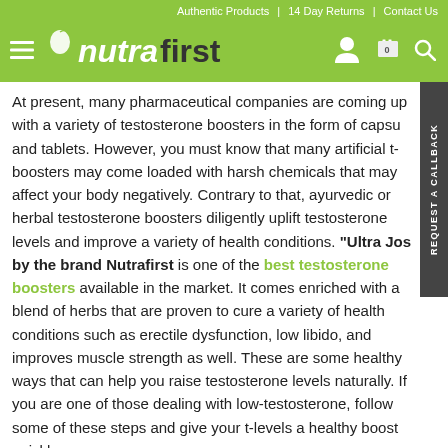Authentic Products | 14 Day Returns | Contact Us
[Figure (logo): Nutrafirst logo with hamburger menu icon on green background, with user, cart, and search icons on the right]
At present, many pharmaceutical companies are coming up with a variety of testosterone boosters in the form of capsules and tablets. However, you must know that many artificial t-boosters may come loaded with harsh chemicals that may affect your body negatively. Contrary to that, ayurvedic or herbal testosterone boosters diligently uplift testosterone levels and improve a variety of health conditions. "Ultra Josh" by the brand Nutrafirst is one of the best testosterone boosters available in the market. It comes enriched with a blend of herbs that are proven to cure a variety of health conditions such as erectile dysfunction, low libido, and improves muscle strength as well. These are some healthy ways that can help you raise testosterone levels naturally. If you are one of those dealing with low-testosterone, follow some of these steps and give your t-levels a healthy boost quickly.